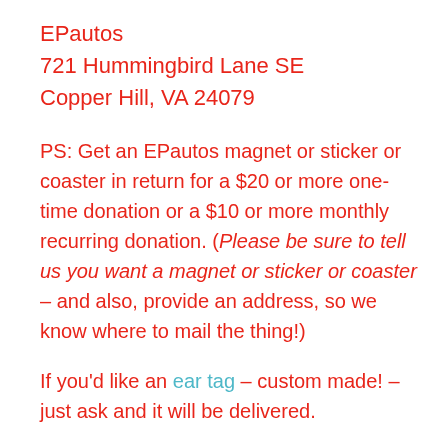EPautos
721 Hummingbird Lane SE
Copper Hill, VA 24079
PS: Get an EPautos magnet or sticker or coaster in return for a $20 or more one-time donation or a $10 or more monthly recurring donation. (Please be sure to tell us you want a magnet or sticker or coaster – and also, provide an address, so we know where to mail the thing!)
If you'd like an ear tag – custom made! – just ask and it will be delivered.
My latest eBook is also available for your favorite